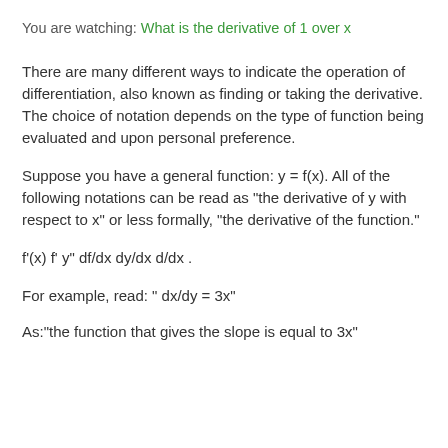You are watching: What is the derivative of 1 over x
There are many different ways to indicate the operation of differentiation, also known as finding or taking the derivative. The choice of notation depends on the type of function being evaluated and upon personal preference.
Suppose you have a general function: y = f(x). All of the following notations can be read as "the derivative of y with respect to x" or less formally, "the derivative of the function."
f'(x) f' y" df/dx dy/dx d/dx .
For example, read: " dx/dy = 3x"
As:"the function that gives the slope is equal to 3x"